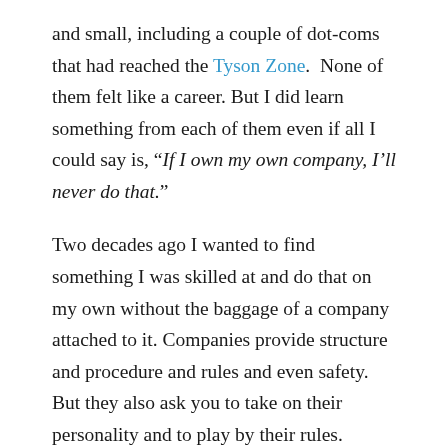and small, including a couple of dot-coms that had reached the Tyson Zone.  None of them felt like a career. But I did learn something from each of them even if all I could say is, “If I own my own company, I’ll never do that.”
Two decades ago I wanted to find something I was skilled at and do that on my own without the baggage of a company attached to it. Companies provide structure and procedure and rules and even safety. But they also ask you to take on their personality and to play by their rules. Recurring meetings, break rooms, open floor plans and near constant distractions are part of the corporate game. If you own a company, go to your calendar right now and cancel all your recurring meetings. Seriously. They are a massive waste of time